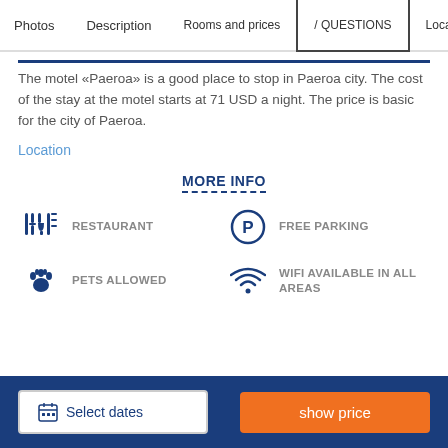Photos  Description  Rooms and prices / QUESTIONS  Location
The motel «Paeroa» is a good place to stop in Paeroa city. The cost of the stay at the motel starts at 71 USD a night. The price is basic for the city of Paeroa.
Location
MORE INFO
RESTAURANT
FREE PARKING
PETS ALLOWED
WIFI AVAILABLE IN ALL AREAS
Select dates  show price